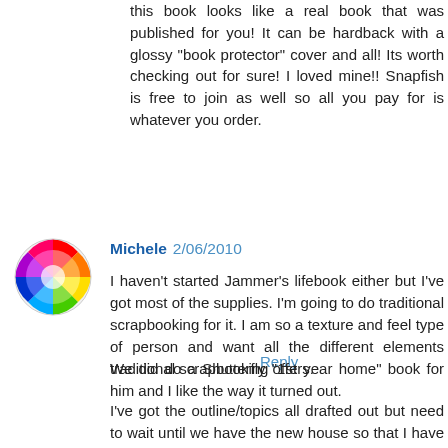this book looks like a real book that was published for you! It can be hardback with a glossy "book protector" cover and all! Its worth checking out for sure! I loved mine!! Snapfish is free to join as well so all you pay for is whatever you order.
Reply
[Figure (photo): Colorful avatar image with radial rainbow pattern]
Michele 2/06/2010
I haven't started Jammer's lifebook either but I've got most of the supplies. I'm going to do traditional scrapbooking for it. I am so a texture and feel type of person and want all the different elements traditional scrapbooking offers.
We did do a Shutterfly "1st year home" book for him and I like the way it turned out.
I've got the outline/topics all drafted out but need to wait until we have the new house so that I have the space to work. Right now I'd have to put it all away each evening and that doesn't make for good progress. If you want my